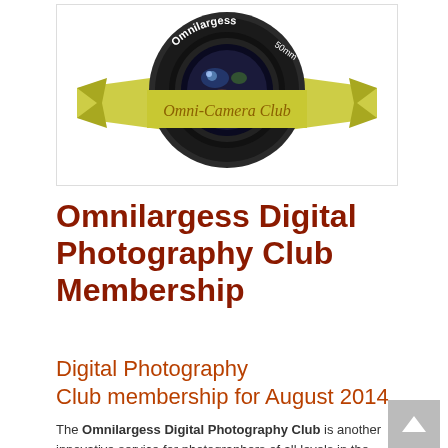[Figure (logo): Omni-Camera Club logo featuring a camera lens with a yellow/olive ribbon banner reading 'Omni-Camera Club' and 'Omnilargess 50mm' text around the lens]
Omnilargess Digital Photography Club Membership
Digital Photography Club membership for August 2014
The Omnilargess Digital Photography Club is another innovative service for photographers of all levels in the Fraser Valley and Lower Mainland. With your exclusive